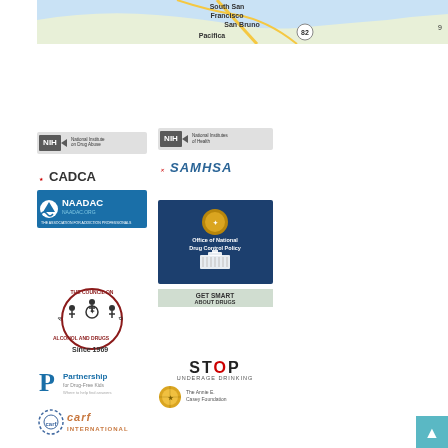[Figure (map): Google Maps showing South San Francisco, San Bruno, Pacifica area]
[Figure (logo): NIH National Institute on Drug Abuse logo]
[Figure (logo): NIH National Institutes of Health logo]
[Figure (logo): SAMHSA logo]
[Figure (logo): CADCA logo]
[Figure (logo): NAADAC naadac.org logo]
[Figure (logo): Office of National Drug Control Policy logo]
[Figure (logo): Get Smart About Drugs logo]
[Figure (logo): The Council on Alcohol and Drugs Since 1969 logo]
[Figure (logo): Partnership for Drug-Free Kids logo]
[Figure (logo): STOP Underage Drinking logo]
[Figure (logo): Award seal and The Annie E. Casey Foundation logo]
[Figure (logo): CARF International logo]